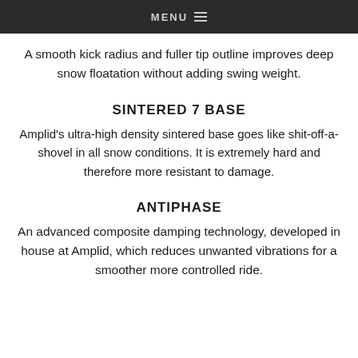MENU
A smooth kick radius and fuller tip outline improves deep snow floatation without adding swing weight.
SINTERED 7 BASE
Amplid's ultra-high density sintered base goes like shit-off-a-shovel in all snow conditions. It is extremely hard and therefore more resistant to damage.
ANTIPHASE
An advanced composite damping technology, developed in house at Amplid, which reduces unwanted vibrations for a smoother more controlled ride.